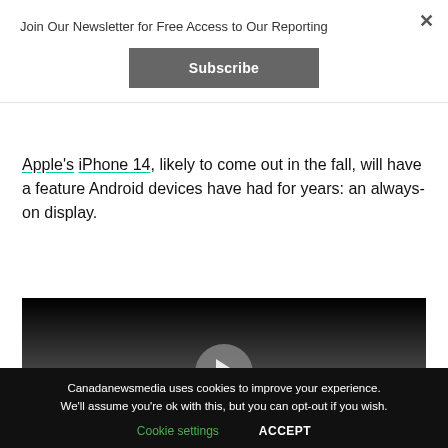Join Our Newsletter for Free Access to Our Reporting
Subscribe
Apple’s iPhone 14, likely to come out in the fall, will have a feature Android devices have had for years: an always-on display.
[Figure (screenshot): Video player thumbnail showing a dark gradient background with a circular play button in the center.]
Canadanewsmedia uses cookies to improve your experience. We’ll assume you’re ok with this, but you can opt-out if you wish.
Cookie settings    ACCEPT